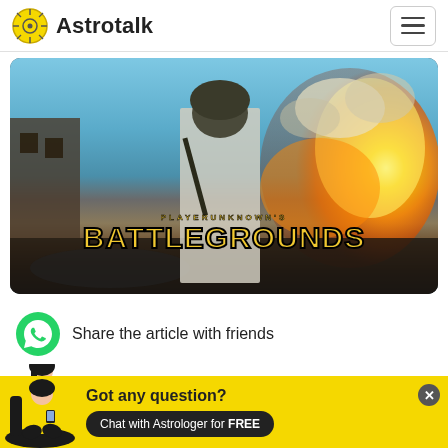Astrotalk
[Figure (screenshot): PLAYERUNKNOWN'S BATTLEGROUNDS game promotional image with a soldier standing in front of an explosion, with the game title in gold text]
Share the article with friends
[Figure (illustration): Partially visible author avatar - a woman illustration]
Got any question? Chat with Astrologer for FREE